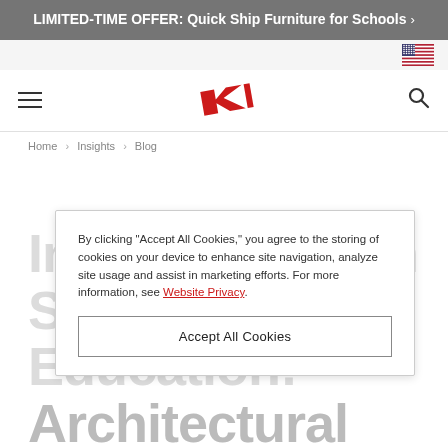LIMITED-TIME OFFER: Quick Ship Furniture for Schools >
[Figure (logo): US flag icon in top navigation bar]
[Figure (logo): KI logo — red K and I letters forming a diamond shape]
Home > Insights > Blog
By clicking "Accept All Cookies," you agree to the storing of cookies on your device to enhance site navigation, analyze site usage and assist in marketing efforts. For more information, see Website Privacy.
Accept All Cookies
Inspired Design Solutions for Education: Architectural Walls